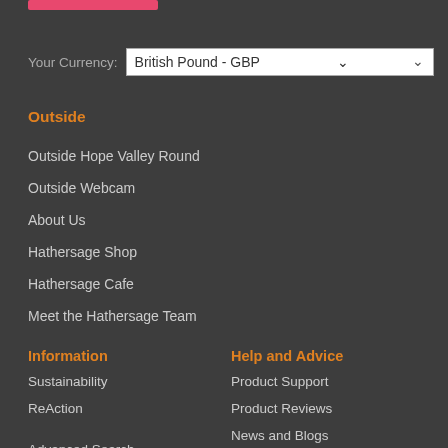Your Currency: British Pound - GBP
Outside
Outside Hope Valley Round
Outside Webcam
About Us
Hathersage Shop
Hathersage Cafe
Meet the Hathersage Team
Information
Help and Advice
Sustainability
Product Support
ReAction
Product Reviews
News and Blogs
Advanced Search
Contact Us
Terms & Conditions